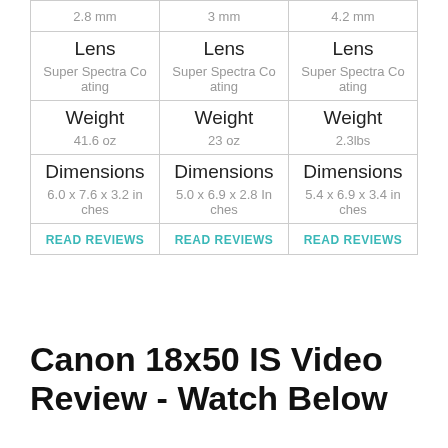| Col1 | Col2 | Col3 |
| --- | --- | --- |
| 2.8 mm | 3 mm | 4.2 mm |
| Lens
Super Spectra Coating | Lens
Super Spectra Coating | Lens
Super Spectra Coating |
| Weight
41.6 oz | Weight
23 oz | Weight
2.3lbs |
| Dimensions
6.0 x 7.6 x 3.2 inches | Dimensions
5.0 x 6.9 x 2.8 Inches | Dimensions
5.4 x 6.9 x 3.4 inches |
| READ REVIEWS | READ REVIEWS | READ REVIEWS |
Canon 18x50 IS Video Review - Watch Below